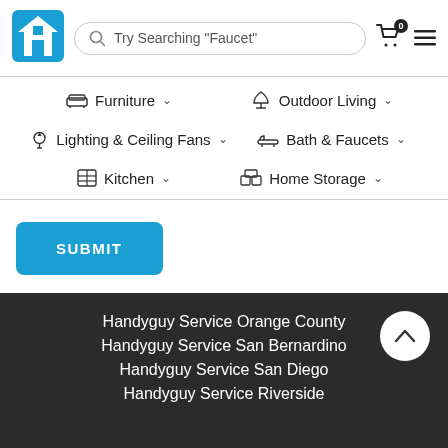[Figure (logo): Blue house/home icon logo]
Try Searching "Faucet"
Furniture
Outdoor Living
Lighting & Ceiling Fans
Bath & Faucets
Kitchen
Home Storage
SUBMIT
Handyguy Service Orange County
Handyguy Service San Bernardino
Handyguy Service San Diego
Handyguy Service Riverside